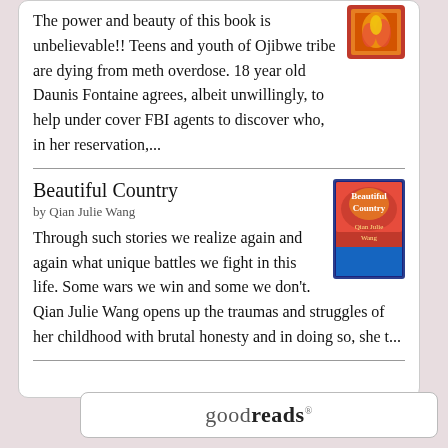The power and beauty of this book is unbelievable!! Teens and youth of Ojibwe tribe are dying from meth overdose. 18 year old Daunis Fontaine agrees, albeit unwillingly, to help under cover FBI agents to discover who, in her reservation,...
Beautiful Country
by Qian Julie Wang
Through such stories we realize again and again what unique battles we fight in this life. Some wars we win and some we don't. Qian Julie Wang opens up the traumas and struggles of her childhood with brutal honesty and in doing so, she t...
[Figure (logo): Goodreads logo in a rounded rectangle bar at the bottom right]